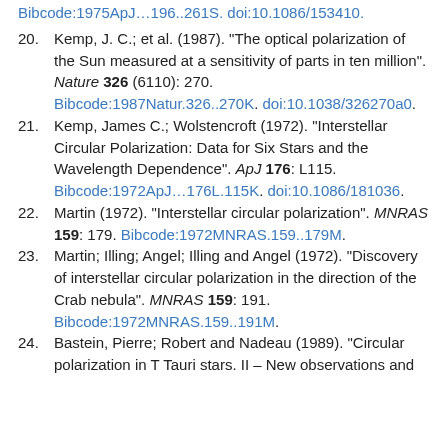Bibcode:1975ApJ…196..261S. doi:10.1086/153410.
20. Kemp, J. C.; et al. (1987). "The optical polarization of the Sun measured at a sensitivity of parts in ten million". Nature 326 (6110): 270. Bibcode:1987Natur.326..270K. doi:10.1038/326270a0.
21. Kemp, James C.; Wolstencroft (1972). "Interstellar Circular Polarization: Data for Six Stars and the Wavelength Dependence". ApJ 176: L115. Bibcode:1972ApJ…176L.115K. doi:10.1086/181036.
22. Martin (1972). "Interstellar circular polarization". MNRAS 159: 179. Bibcode:1972MNRAS.159..179M.
23. Martin; Illing; Angel; Illing and Angel (1972). "Discovery of interstellar circular polarization in the direction of the Crab nebula". MNRAS 159: 191. Bibcode:1972MNRAS.159..191M.
24. Bastein, Pierre; Robert and Nadeau (1989). "Circular polarization in T Tauri stars. II – New observations and